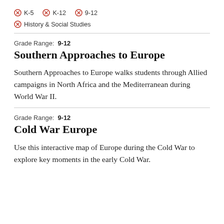⊗ K-5  ⊗ K-12  ⊗ 9-12
⊗ History & Social Studies
Grade Range: 9-12
Southern Approaches to Europe
Southern Approaches to Europe walks students through Allied campaigns in North Africa and the Mediterranean during World War II.
Grade Range: 9-12
Cold War Europe
Use this interactive map of Europe during the Cold War to explore key moments in the early Cold War.